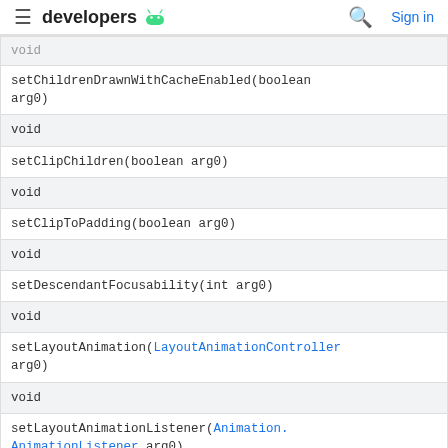developers
| void |
| setChildrenDrawnWithCacheEnabled(boolean arg0) |
| void |
| setClipChildren(boolean arg0) |
| void |
| setClipToPadding(boolean arg0) |
| void |
| setDescendantFocusability(int arg0) |
| void |
| setLayoutAnimation(LayoutAnimationController arg0) |
| void |
| setLayoutAnimationListener(Animation.AnimationListener arg0) |